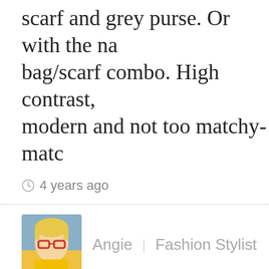scarf and grey purse. Or with the na bag/scarf combo. High contrast, modern and not too matchy-matc
4 years ago
[Figure (photo): Profile photo of Angie, a woman with blonde hair and red glasses wearing a yellow top]
Angie | Fashion Stylist
GO TEAM WHITE BOOTS. They are a wardrobe essential for me.
Love what you're putting together b